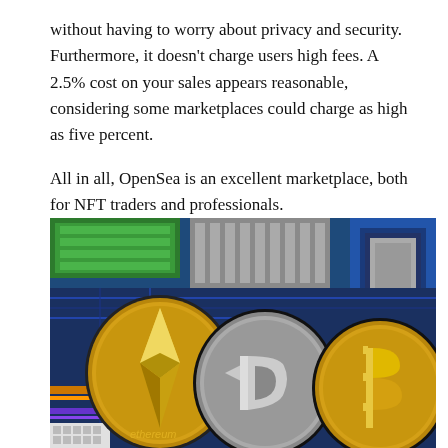without having to worry about privacy and security. Furthermore, it doesn't charge users high fees. A 2.5% cost on your sales appears reasonable, considering some marketplaces could charge as high as five percent.
All in all, OpenSea is an excellent marketplace, both for NFT traders and professionals.
[Figure (photo): Photo of three cryptocurrency coins (Ethereum, Dash, and Bitcoin) placed on a computer motherboard with green, blue, and orange circuit board components visible.]